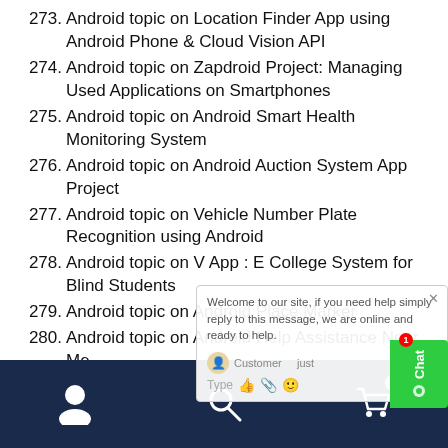273. Android topic on Location Finder App using Android Phone & Cloud Vision API
274. Android topic on Zapdroid Project: Managing Used Applications on Smartphones
275. Android topic on Android Smart Health Monitoring System
276. Android topic on Android Auction System App Project
277. Android topic on Vehicle Number Plate Recognition using Android
278. Android topic on V App : E College System for Blind Students
279. Android topic on Android Place Marker
280. Android topic on Android Help Assistance Near Me
281. Android topic on Canteen Automation System
[Figure (screenshot): Chat widget overlay with message 'Welcome to our site, if you need help simply reply to this message, we are online and ready to help.' with customer input area and a green Chat button on the right side.]
[Figure (screenshot): Bottom navigation bar with dark navy background showing person/account icon, search/magnifier icon, and shopping cart icon with badge showing 0.]